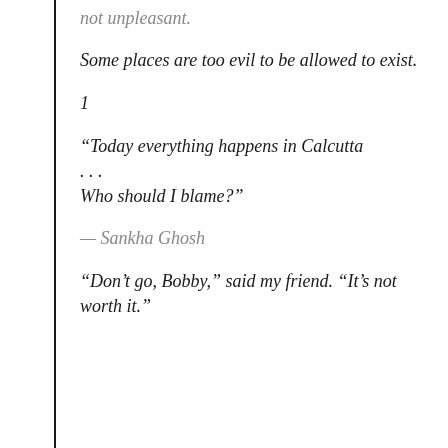not unpleasant.
Some places are too evil to be allowed to exist.
1
“Today everything happens in Calcutta . . . Who should I blame?”
— Sankha Ghosh
“Don’t go, Bobby,” said my friend. “It’s not worth it.”